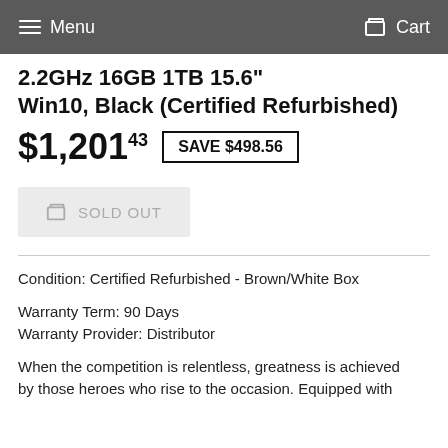Menu   Cart
2.2GHz 16GB 1TB 15.6" Win10, Black (Certified Refurbished)
$1,201.43  SAVE $498.56
SOLD OUT
Condition: Certified Refurbished - Brown/White Box
Warranty Term: 90 Days
Warranty Provider: Distributor
When the competition is relentless, greatness is achieved by those heroes who rise to the occasion. Equipped with